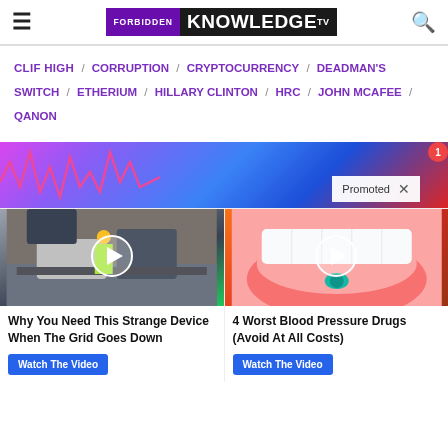FORBIDDEN KNOWLEDGE TV
CLIF HIGH / CORRUPTION / CRYPTOCURRENCY / DEADMAN'S SWITCH / ETHERIUM / HILLARY CLINTON / HRC / JOHN MCAFEE / QANON
[Figure (screenshot): Promoted ad banner with colorful gradient background and a 'Promoted X' label]
[Figure (screenshot): Two sponsored video cards: 'Why You Need This Strange Device When The Grid Goes Down' with Watch The Video button, and '4 Worst Blood Pressure Drugs (Avoid At All Costs)' with Watch The Video button]